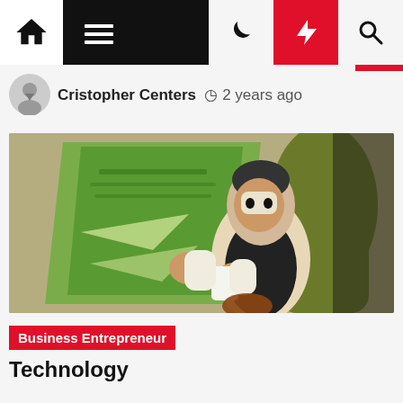Navigation bar with home, menu, dark mode, lightning, and search icons
Cristopher Centers  2 years ago
[Figure (illustration): Vintage illustration of a man sitting in a chair reading a newspaper, rendered in green, brown, black and white tones]
Business Entrepreneur
Technology